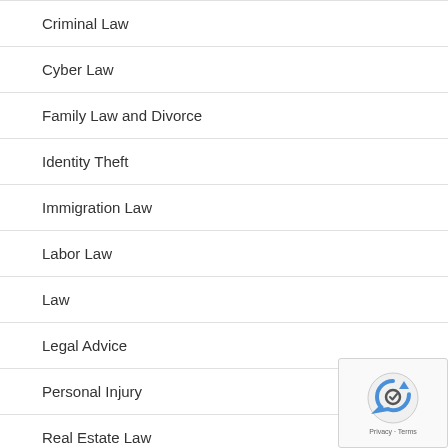Criminal Law
Cyber Law
Family Law and Divorce
Identity Theft
Immigration Law
Labor Law
Law
Legal Advice
Personal Injury
Real Estate Law